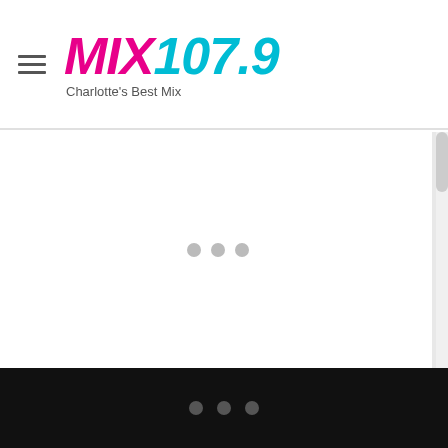[Figure (logo): MIX 107.9 radio station logo with tagline 'Charlotte's Best Mix'. MIX is in pink/magenta italic bold font, 107.9 is in cyan/teal italic bold font.]
[Figure (other): Main content area showing a loading spinner (three gray dots) in the center of a white panel with a right-side scrollbar.]
[Figure (other): Black footer bar with three gray dots (loading indicator).]